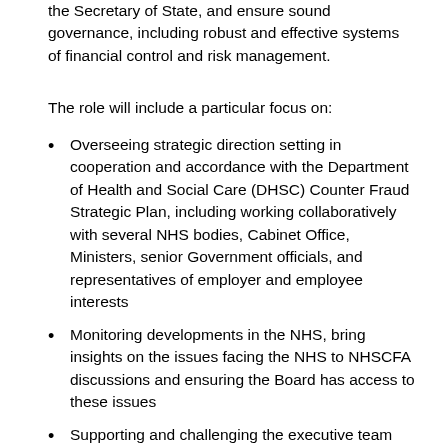the Secretary of State, and ensure sound governance, including robust and effective systems of financial control and risk management.
The role will include a particular focus on:
Overseeing strategic direction setting in cooperation and accordance with the Department of Health and Social Care (DHSC) Counter Fraud Strategic Plan, including working collaboratively with several NHS bodies, Cabinet Office, Ministers, senior Government officials, and representatives of employer and employee interests
Monitoring developments in the NHS, bring insights on the issues facing the NHS to NHSCFA discussions and ensuring the Board has access to these issues
Supporting and challenging the executive team
Performance monitoring and evaluating the NHSCFA functions
Ensuring effective induction of the NEDs and the